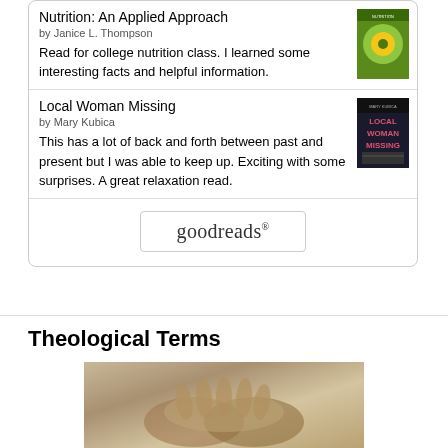Nutrition: An Applied Approach
by Janice L. Thompson
Read for college nutrition class. I learned some interesting facts and helpful information.
Local Woman Missing
by Mary Kubica
This has a lot of back and forth between past and present but I was able to keep up. Exciting with some surprises. A great relaxation read.
[Figure (logo): goodreads logo button with rounded rectangle border]
Theological Terms
[Figure (photo): Sepia-toned photo of hands, likely in prayer or cupped together]